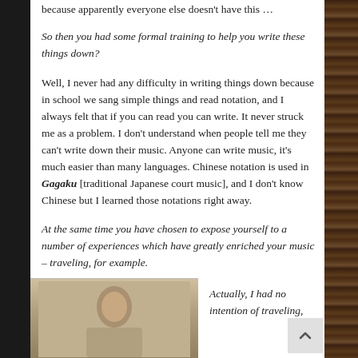because apparently everyone else doesn't have this …
So then you had some formal training to help you write these things down?
Well, I never had any difficulty in writing things down because in school we sang simple things and read notation, and I always felt that if you can read you can write. It never struck me as a problem. I don't understand when people tell me they can't write down their music. Anyone can write music, it's much easier than many languages. Chinese notation is used in Gagaku [traditional Japanese court music], and I don't know Chinese but I learned those notations right away.
At the same time you have chosen to expose yourself to a number of experiences which have greatly enriched your music – traveling, for example.
[Figure (photo): Black and white portrait photo of a person]
Actually, I had no intention of traveling,